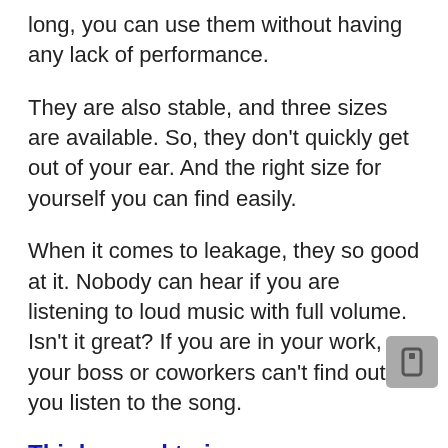long, you can use them without having any lack of performance.
They are also stable, and three sizes are available. So, they don't quickly get out of your ear. And the right size for yourself you can find easily.
When it comes to leakage, they so good at it. Nobody can hear if you are listening to loud music with full volume. Isn't it great? If you are in your work, your boss or coworkers can't find out you listen to the song.
Thinks need to improve:
There is no active or passive noise cancellation. Even the enclosure is